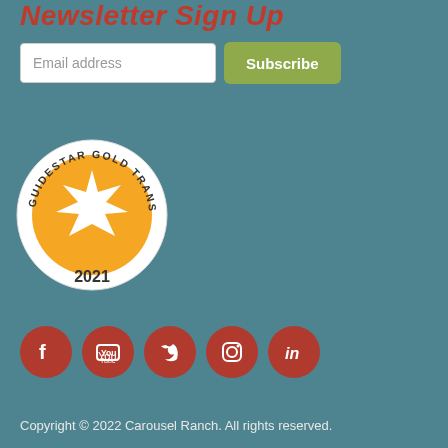Newsletter Sign Up
[Figure (other): Email address input field and Subscribe button]
[Figure (other): Guidestar Gold Transparency 2021 seal/badge - circular gold badge with star design]
[Figure (other): Social media icons: Facebook, YouTube, Twitter, Instagram, LinkedIn - dark red circular buttons]
Copyright © 2022 Carousel Ranch. All rights reserved.